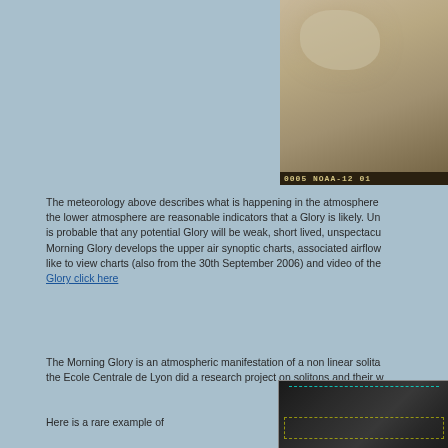[Figure (photo): Satellite image showing atmospheric/cloud patterns, labeled '0005 NOAA-12 01' at the bottom, displayed in sepia/brown tones]
The meteorology above describes what is happening in the atmosphere the lower atmosphere are reasonable indicators that a Glory is likely. Un is probable that any potential Glory will be weak, short lived, unspectacu Morning Glory develops the upper air synoptic charts, associated airflow like to view charts (also from the 30th September 2006) and video of the Glory click here
The Morning Glory is an atmospheric manifestation of a non linear solita the Ecole Centrale de Lyon did a research project on solitons and their w
[Figure (photo): Satellite image showing Morning Glory cloud formation with cyan and yellow dashed outlines marking regions of interest, dark background]
Here is a rare example of